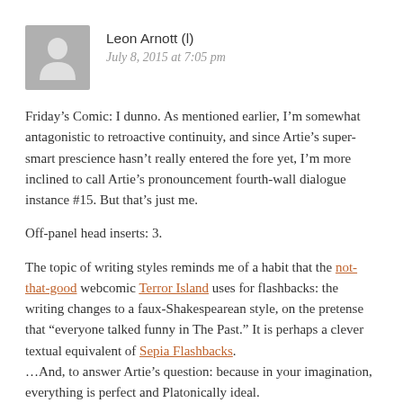[Figure (illustration): Gray placeholder avatar icon showing a silhouette of a person]
Leon Arnott (l)
July 8, 2015 at 7:05 pm
Friday’s Comic: I dunno. As mentioned earlier, I’m somewhat antagonistic to retroactive continuity, and since Artie’s super-smart prescience hasn’t really entered the fore yet, I’m more inclined to call Artie’s pronouncement fourth-wall dialogue instance #15. But that’s just me.
Off-panel head inserts: 3.
The topic of writing styles reminds me of a habit that the not-that-good webcomic Terror Island uses for flashbacks: the writing changes to a faux-Shakespearean style, on the pretense that “everyone talked funny in The Past.” It is perhaps a clever textual equivalent of Sepia Flashbacks.
…And, to answer Artie’s question: because in your imagination, everything is perfect and Platonically ideal.